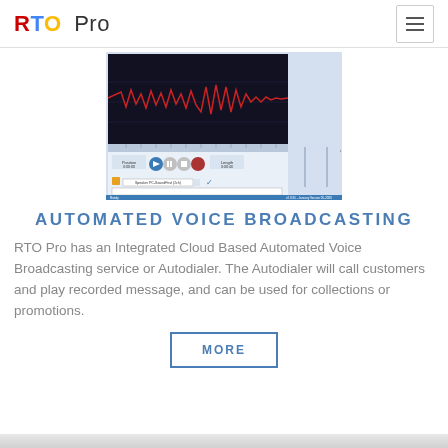RTO Pro
[Figure (screenshot): Screenshot of RTO Pro automated voice broadcasting software interface showing audio waveform display and recording controls]
AUTOMATED VOICE BROADCASTING
RTO Pro has an Integrated Cloud Based Automated Voice Broadcasting service or Autodialer. The Autodialer will call customers and play recorded message, and can be used for collections or promotions.
MORE